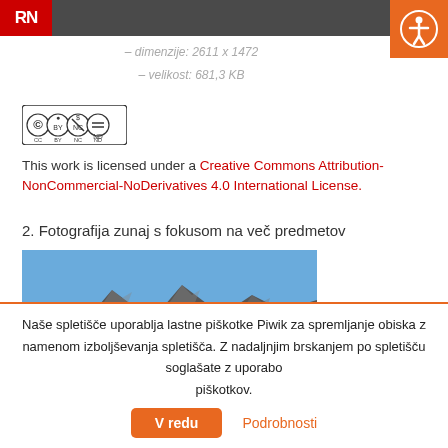RN | [header bar with logo and accessibility button]
– dimenzije: 2611 x 1472
– velikost: 681,3 KB
[Figure (logo): Creative Commons BY-NC-ND license badge]
This work is licensed under a Creative Commons Attribution-NonCommercial-NoDerivatives 4.0 International License.
2. Fotografija zunaj s fokusom na več predmetov
[Figure (photo): Mountain landscape photograph with blue sky and rocky peaks]
Naše spletišče uporablja lastne piškotke Piwik za spremljanje obiska z namenom izboljševanja spletišča. Z nadaljnjim brskanjem po spletišču soglašate z uporabo piškotkov.
V redu    Podrobnosti